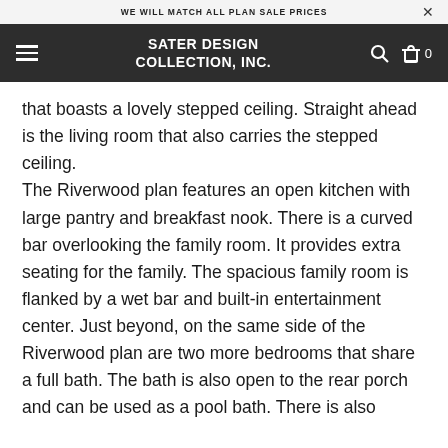WE WILL MATCH ALL PLAN SALE PRICES
SATER DESIGN COLLECTION, INC.
that boasts a lovely stepped ceiling. Straight ahead is the living room that also carries the stepped ceiling.
The Riverwood plan features an open kitchen with large pantry and breakfast nook. There is a curved bar overlooking the family room. It provides extra seating for the family. The spacious family room is flanked by a wet bar and built-in entertainment center. Just beyond, on the same side of the Riverwood plan are two more bedrooms that share a full bath. The bath is also open to the rear porch and can be used as a pool bath. There is also